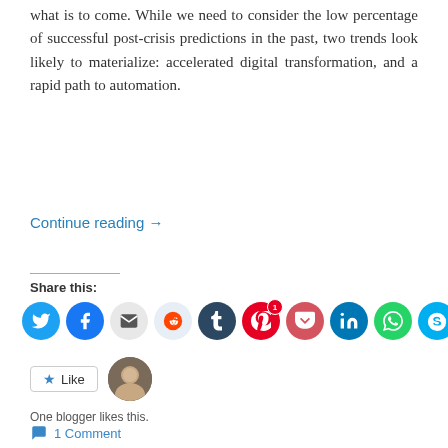what is to come. While we need to consider the low percentage of successful post-crisis predictions in the past, two trends look likely to materialize: accelerated digital transformation, and a rapid path to automation.
Continue reading →
Share this:
[Figure (other): Row of social sharing icon buttons: Twitter, Facebook, Email, Reddit, Tumblr, Pinterest (with badge 1), Pocket, LinkedIn, WhatsApp, Skype]
[Figure (other): Like button with star icon and blogger avatar photo]
One blogger likes this.
1 Comment